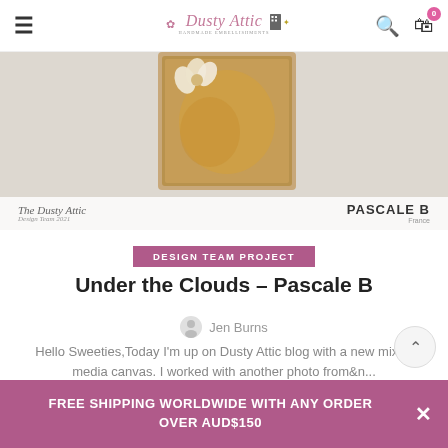Dusty Attic – navigation bar with logo, hamburger menu, search and cart icons
[Figure (photo): Hero image of a mixed media canvas artwork with flowers, shown on a white textured background. Overlaid text: 'The Dusty Attic – Design Team 2021' on the left and 'PASCALE B – France' on the right.]
The Dusty Attic / PASCALE B France
DESIGN TEAM PROJECT
Under the Clouds – Pascale B
Jen Burns
Hello Sweeties,Today I'm up on Dusty Attic blog with a new mixed media canvas. I worked with another photo from&n...
CONTINUE READING
FREE SHIPPING WORLDWIDE WITH ANY ORDER OVER AUD$150